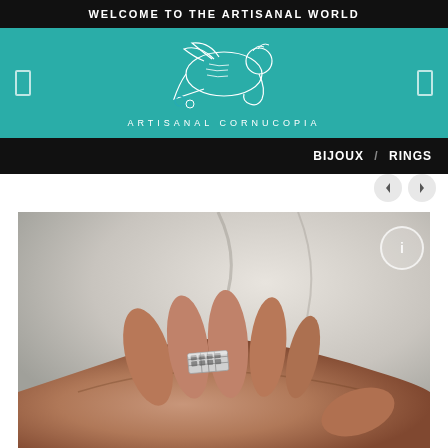WELCOME TO THE ARTISANAL WORLD
[Figure (logo): Artisanal Cornucopia logo: decorative illustration of an elephant or figure with a cornucopia, drawn in black and white line art on teal background]
ARTISANAL CORNUCOPIA
BIJOUX / RINGS
[Figure (photo): Close-up photograph of a hand wearing a silver grid-patterned rectangular ring, with a soft white draped fabric background]